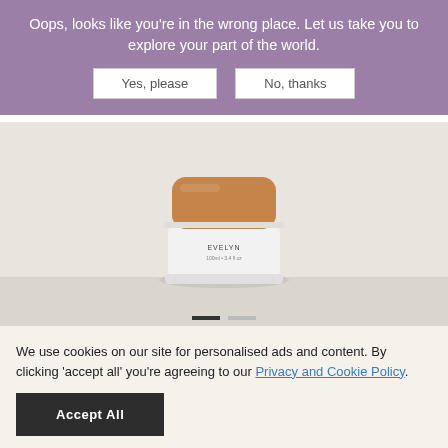Oops, looks like you're in the wrong place. Let us take you to explore your part of the world.
Yes, please
No, thanks
[Figure (photo): Close-up photo of a white cream jar with an orange-brown lid labeled 'EVELYN', shown on a light grey/beige surface.]
46 Reviews
DELIVERY AND RETURNS
We use cookies on our site for personalised ads and content. By clicking 'accept all' you're agreeing to our Privacy and Cookie Policy.
Accept All